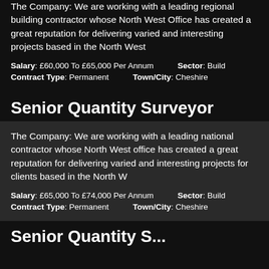The Company: We are working with a leading regional building contractor whose North West Office has created a great reputation for delivering varied and interesting projects based in the North West
Salary: £60,000 To £65,000 Per Annum   Sector: Build
Contract Type: Permanent   Town/City: Cheshire
Senior Quantity Surveyor
The Company: We are working with a leading national contractor whose North West office has created a great reputation for delivering varied and interesting projects for clients based in the North W
Salary: £65,000 To £74,000 Per Annum   Sector: Build
Contract Type: Permanent   Town/City: Cheshire
Senior Quantity S...